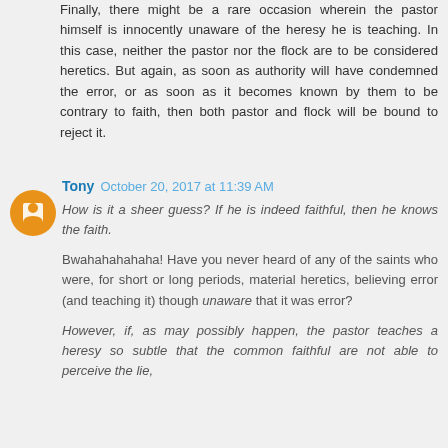Finally, there might be a rare occasion wherein the pastor himself is innocently unaware of the heresy he is teaching. In this case, neither the pastor nor the flock are to be considered heretics. But again, as soon as authority will have condemned the error, or as soon as it becomes known by them to be contrary to faith, then both pastor and flock will be bound to reject it.
Tony  October 20, 2017 at 11:39 AM
How is it a sheer guess? If he is indeed faithful, then he knows the faith.
Bwahahahahaha! Have you never heard of any of the saints who were, for short or long periods, material heretics, believing error (and teaching it) though unaware that it was error?
However, if, as may possibly happen, the pastor teaches a heresy so subtle that the common faithful are not able to perceive the lie,